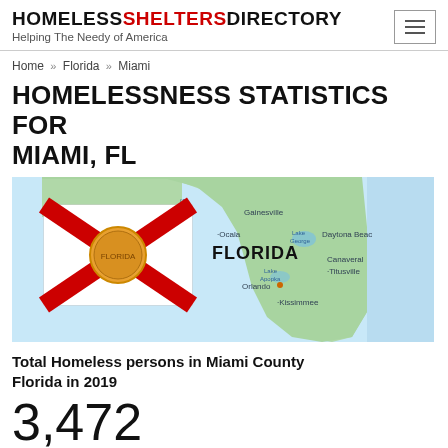HOMELESS SHELTERS DIRECTORY — Helping The Needy of America
Home » Florida » Miami
HOMELESSNESS STATISTICS FOR MIAMI, FL
[Figure (map): Map of Florida showing cities including Gainesville, Lake George, Ocala, Daytona Beach, Lake Apopka, Canaveral, Titusville, Orlando, Kissimmee. Florida state flag shown on left side of image.]
Total Homeless persons in Miami County Florida in 2019
3,472